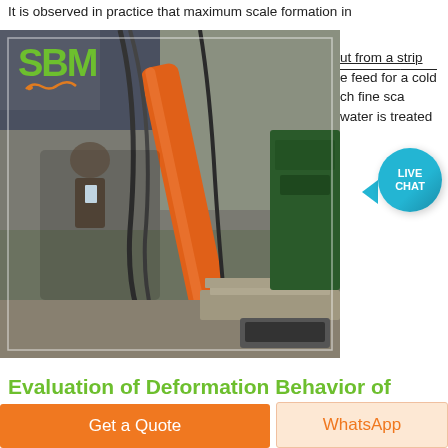It is observed in practice that maximum scale formation in
[Figure (photo): Industrial hot rolling mill equipment with orange hydraulic arm/cylinder and cables, SBM logo overlay]
but from a strip
e feed for a cold
ch fine sca...
water is treated
Evaluation of Deformation Behavior of Oxide Scale in Hot Rolling